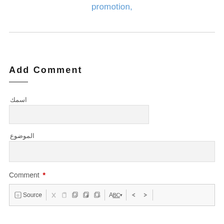promotion,
Add Comment
اسمك
الموضوع
Comment *
[Figure (screenshot): Comment editor toolbar with Source, cut, copy, paste, paste-text, paste-from-word, spell-check, undo, redo buttons]